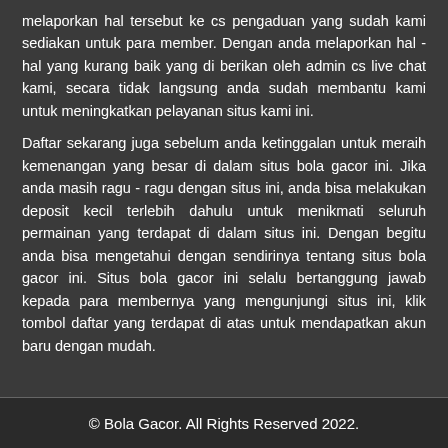melaporkan hal tersebut ke cs pengaduan yang sudah kami sediakan untuk para member. Dengan anda melaporkan hal - hal yang kurang baik yang di berikan oleh admin cs live chat kami, secara tidak langsung anda sudah membantu kami untuk meningkatkan pelayanan situs kami ini.
Daftar sekarang juga sebelum anda ketinggalan untuk meraih kemenangan yang besar di dalam situs bola gacor ini. Jika anda masih ragu - ragu dengan situs ini, anda bisa melakukan deposit kecil terlebih dahulu untuk menikmati seluruh permainan yang terdapat di dalam situs ini. Dengan begitu anda bisa mengetahui dengan sendirinya tentang situs bola gacor ini. Situs bola gacor ini selalu bertanggung jawab kepada para membernya yang mengunjungi situs ini, klik tombol daftar yang terdapat di atas untuk mendapatkan akun baru dengan mudah.
© Bola Gacor. All Rights Reserved 2022.